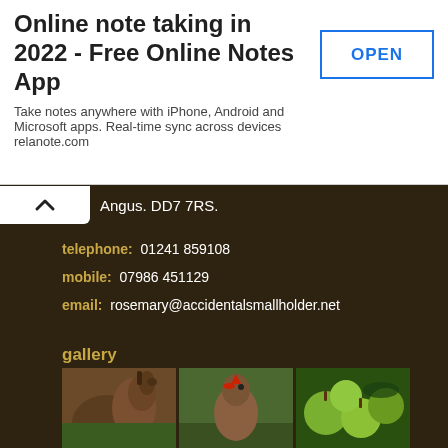Online note taking in 2022 - Free Online Notes App
Take notes anywhere with iPhone, Android and Microsoft apps. Real-time sync across devices relanote.com
OPEN
Angus. DD7 7RS.
telephone:  01241 859108
mobile:  07986 451129
email:  rosemary@accidentalsmallholder.net
gallery
[Figure (photo): Grid of 6 farm/smallholder photos: horse head, rooster, green apples on tree, chicken in grass, black cat in grass, pile of oranges]
More photos
who is the accidental smallholder?
Hello, I'm Rosemary Champion, aka the Accidental Smallholder. I'm a